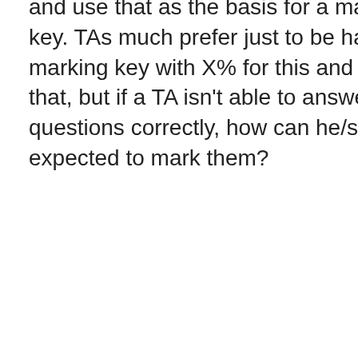and use that as the basis for a marking key. TAs much prefer just to be handed a marking key with X% for this and Y% for that, but if a TA isn't able to answer the questions correctly, how can he/she be expected to mark them?
James - you point that rubrics are part of making expectations clear is a good one, and there is a lot to be said for profs letting students know what they expect.
I find rigid schemes such as 1 to 2 spelling and grammar errors for an A usually get torn up after one or two papers.